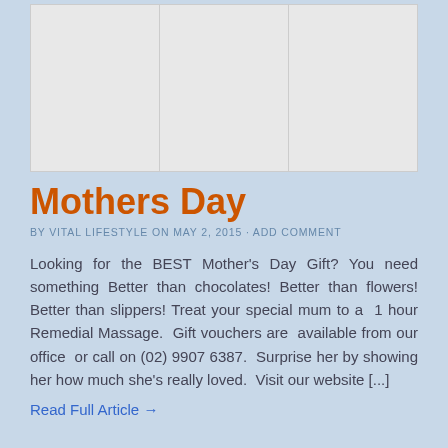[Figure (other): Advertisement banner placeholder with three columns separated by vertical lines, light gray background]
Mothers Day
BY VITAL LIFESTYLE ON MAY 2, 2015 · ADD COMMENT
Looking for the BEST Mother's Day Gift? You need something Better than chocolates! Better than flowers! Better than slippers! Treat your special mum to a  1 hour Remedial Massage.  Gift vouchers are  available from our office  or call on (02) 9907 6387.  Surprise her by showing her how much she's really loved.  Visit our website [...]
Read Full Article →
Psychology